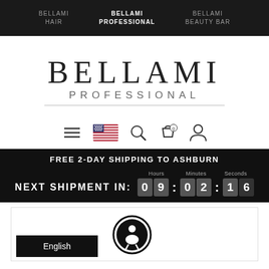BELLAMI HAIR | BELLAMI PROFESSIONAL | BELLAMI BEAUTY BAR
[Figure (logo): BELLAMI PROFESSIONAL logo with large serif text and underline]
[Figure (infographic): Navigation icons: hamburger menu, US flag, search, cart with 0, user profile]
FREE 2-DAY SHIPPING TO ASHBURN
NEXT SHIPMENT IN: 09:02:16
English
[Figure (illustration): Accessibility icon - person in circle logo]